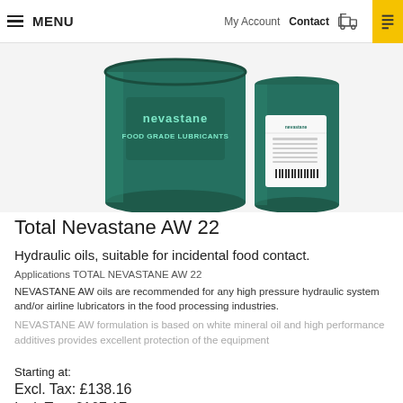MENU  My Account  Contact
[Figure (photo): Two Nevastane Food Grade Lubricants containers — a large dark green drum and a smaller dark green canister with white label]
Total Nevastane AW 22
Hydraulic oils, suitable for incidental food contact.
Applications TOTAL NEVASTANE AW 22
NEVASTANE AW oils are recommended for any high pressure hydraulic system and/or airline lubricators in the food processing industries. NEVASTANE AW formulation is based on white mineral oil and high performance additives provides excellent protection of the equipment
Starting at:
Excl. Tax: £138.16
Incl. Tax: £167.17